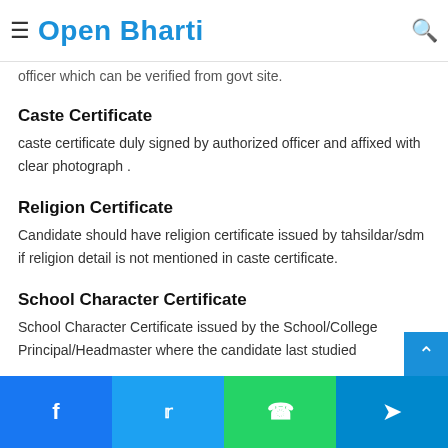Open Bharti
officer which can be verified from govt site.
Caste Certificate
caste certificate duly signed by authorized officer and affixed with clear photograph .
Religion Certificate
Candidate should have religion certificate issued by tahsildar/sdm if religion detail is not mentioned in caste certificate.
School Character Certificate
School Character Certificate issued by the School/College Principal/Headmaster where the candidate last studied